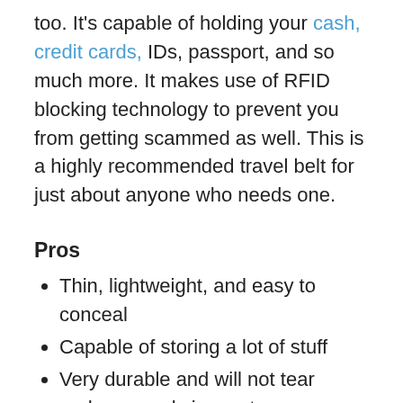too. It's capable of holding your cash, credit cards, IDs, passport, and so much more. It makes use of RFID blocking technology to prevent you from getting scammed as well. This is a highly recommended travel belt for just about anyone who needs one.
Pros
Thin, lightweight, and easy to conceal
Capable of storing a lot of stuff
Very durable and will not tear under normal circumstances
Available in several colors